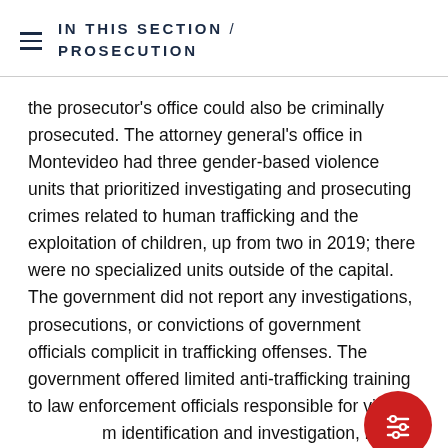IN THIS SECTION / PROSECUTION
the prosecutor's office could also be criminally prosecuted. The attorney general's office in Montevideo had three gender-based violence units that prioritized investigating and prosecuting crimes related to human trafficking and the exploitation of children, up from two in 2019; there were no specialized units outside of the capital. The government did not report any investigations, prosecutions, or convictions of government officials complicit in trafficking offenses. The government offered limited anti-trafficking training to law enforcement officials responsible for victim identification and investigation, but it included trafficking-specific modules in standard gender-based violence training for approximately 375 h